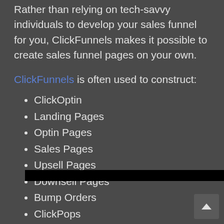Rather than relying on tech-savvy individuals to develop your sales funnel for you, ClickFunnels makes it possible to create sales funnel pages on your own.
ClickFunnels is often used to construct:
ClickOptin
Landing Pages
Optin Pages
Sales Pages
Upsell Pages
Downsell Pages
Bump Orders
ClickPops
Webinar Funnels
Hangout Funnels
Membership Sites